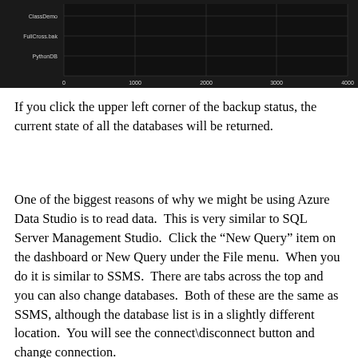[Figure (bar-chart): Database backup chart]
If you click the upper left corner of the backup status, the current state of all the databases will be returned.
One of the biggest reasons of why we might be using Azure Data Studio is to read data.  This is very similar to SQL Server Management Studio.  Click the “New Query” item on the dashboard or New Query under the File menu.  When you do it is similar to SSMS.  There are tabs across the top and you can also change databases.  Both of these are the same as SSMS, although the database list is in a slightly different location.  You will see the connect\disconnect button and change connection.